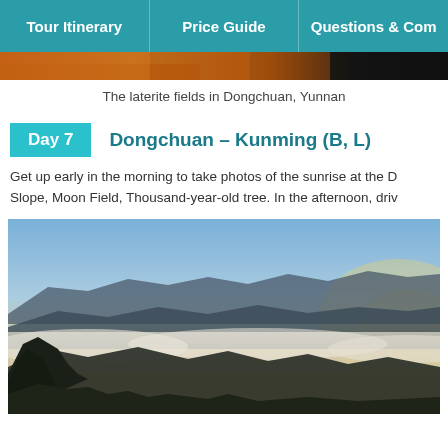Tour Itinerary | Price Guide | Questions & Com
[Figure (photo): Decorative top image strip showing laterite fields, warm orange/gold tones]
The laterite fields in Dongchuan, Yunnan
Day 7    Dongchuan – Kunming (B, L)
Get up early in the morning to take photos of the sunrise at the D... Slope, Moon Field, Thousand-year-old tree. In the afternoon, driv...
[Figure (photo): Landscape photograph showing mountain silhouettes with a sea of clouds and sunrise sky in gradient blue to orange/yellow tones, with dark foreground trees and vegetation]